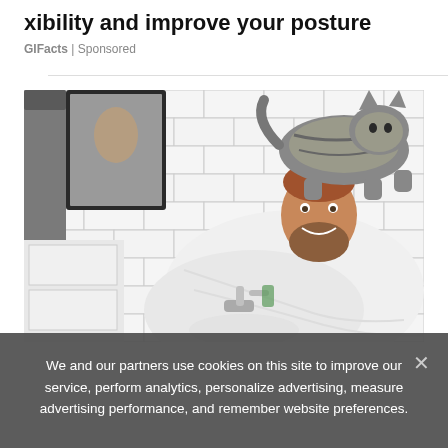xibility and improve your posture
GIFacts | Sponsored
[Figure (photo): A smiling bearded man in a white long-sleeve shirt bent over a bathroom sink, with a large tabby cat standing on his back. White subway tile walls, a mirror, and a gray towel hanging on the wall are visible in the background.]
We and our partners use cookies on this site to improve our service, perform analytics, personalize advertising, measure advertising performance, and remember website preferences.